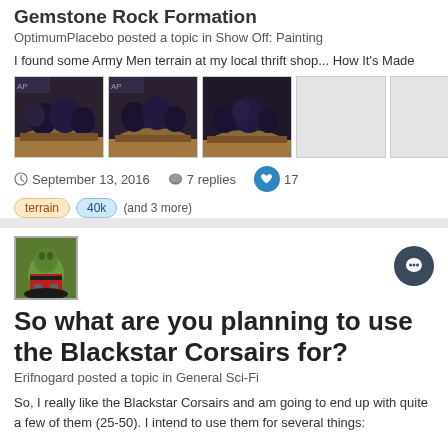Gemstone Rock Formation
OptimumPlacebo posted a topic in Show Off: Painting
I found some Army Men terrain at my local thrift shop... How It's Made
[Figure (photo): Five thumbnail images of dark painted rock terrain miniatures on brown bases; last two placeholders are gray]
September 13, 2016   7 replies   17
terrain   40k   (and 3 more)
[Figure (photo): Avatar of a green alien/orc miniature figure in red and black outfit]
So what are you planning to use the Blackstar Corsairs for?
Erifnogard posted a topic in General Sci-Fi
So, I really like the Blackstar Corsairs and am going to end up with quite a few of them (25-50). I intend to use them for several things: